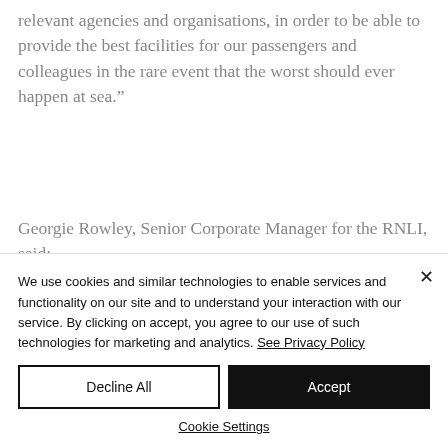relevant agencies and organisations, in order to be able to provide the best facilities for our passengers and colleagues in the rare event that the worst should ever happen at sea.”
Georgie Rowley, Senior Corporate Manager for the RNLI, said:
We use cookies and similar technologies to enable services and functionality on our site and to understand your interaction with our service. By clicking on accept, you agree to our use of such technologies for marketing and analytics. See Privacy Policy